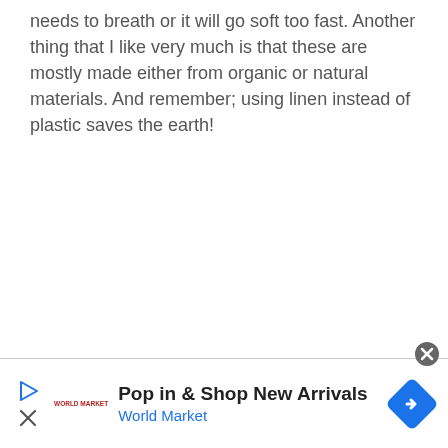needs to breath or it will go soft too fast. Another thing that I like very much is that these are mostly made either from organic or natural materials. And remember; using linen instead of plastic saves the earth!
[Figure (screenshot): Advertisement banner for World Market: 'Pop in & Shop New Arrivals' with World Market logo, play button icon, close button, and navigation arrow icon]